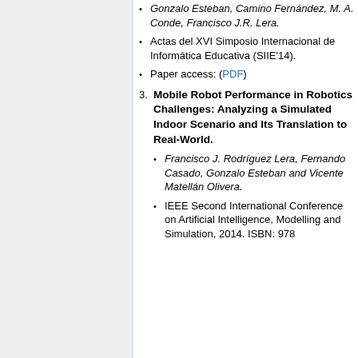Gonzalo Esteban, Camino Fernández, M. A. Conde, Francisco J.R. Lera.
Actas del XVI Simposio Internacional de Informática Educativa (SIIE'14).
Paper access: (PDF)
Mobile Robot Performance in Robotics Challenges: Analyzing a Simulated Indoor Scenario and Its Translation to Real-World.
Francisco J. Rodríguez Lera, Fernando Casado, Gonzalo Esteban and Vicente Matellán Olivera.
IEEE Second International Conference on Artificial Intelligence, Modelling and Simulation, 2014. ISBN: 978...